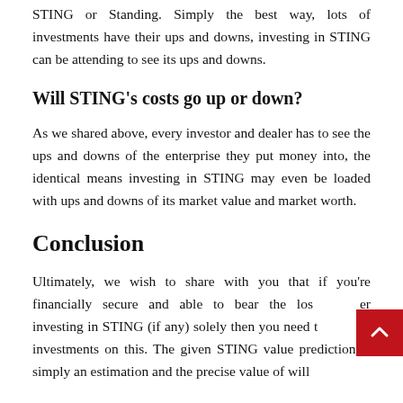STING or Standing. Simply the best way, lots of investments have their ups and downs, investing in STING can be attending to see its ups and downs.
Will STING's costs go up or down?
As we shared above, every investor and dealer has to see the ups and downs of the enterprise they put money into, the identical means investing in STING may even be loaded with ups and downs of its market value and market worth.
Conclusion
Ultimately, we wish to share with you that if you're financially secure and able to bear the loss after investing in STING (if any) solely then you need to make investments on this. The given STING value prediction is simply an estimation and the precise value of will